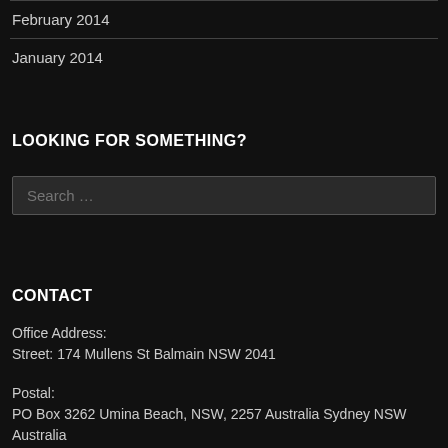February 2014
January 2014
LOOKING FOR SOMETHING?
Search …
CONTACT
Office Address:
Street: 174 Mullens St Balmain NSW 2041
Postal:
PO Box 3262 Umina Beach, NSW, 2257 Australia Sydney NSW Australia
Mobile 0416 143030